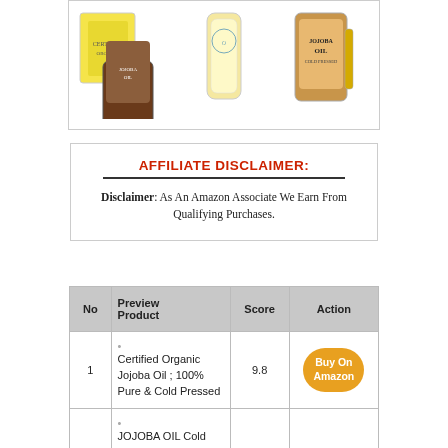[Figure (photo): Three product images of jojoba oil bottles side by side in a bordered box]
AFFILIATE DISCLAIMER:
Disclaimer: As An Amazon Associate We Earn From Qualifying Purchases.
| No | Preview Product | Score | Action |
| --- | --- | --- | --- |
| 1 | Certified Organic Jojoba Oil ; 100% Pure & Cold Pressed | 9.8 | Buy On Amazon |
|  | JOJOBA OIL Cold Pressed Unrefined 100% Pure |  | Buy On |